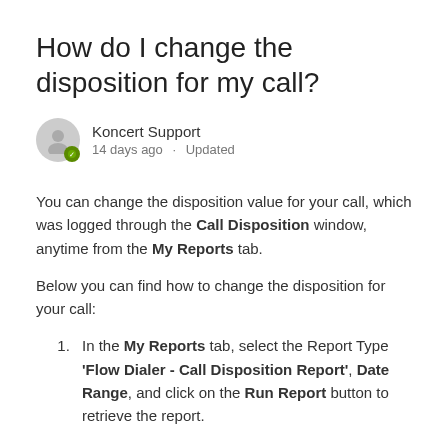How do I change the disposition for my call?
Koncert Support
14 days ago · Updated
You can change the disposition value for your call, which was logged through the Call Disposition window, anytime from the My Reports tab.
Below you can find how to change the disposition for your call:
In the My Reports tab, select the Report Type 'Flow Dialer - Call Disposition Report', Date Range, and click on the Run Report button to retrieve the report.